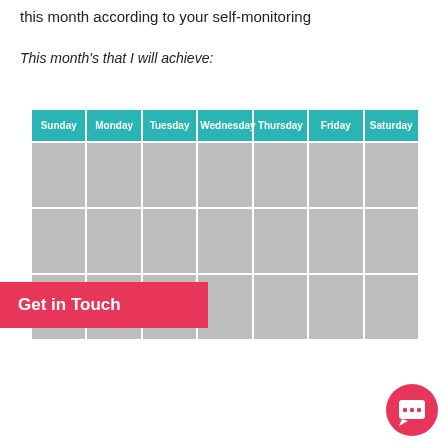this month according to your self-monitoring
This month's that I will achieve:
| Sunday | Monday | Tuesday | Wednesday | Thursday | Friday | Saturday |
| --- | --- | --- | --- | --- | --- | --- |
|  |  |  |  |  |  |  |
|  |  |  |  |  |  |  |
|  |  |  |  |  |  |  |
Get in Touch